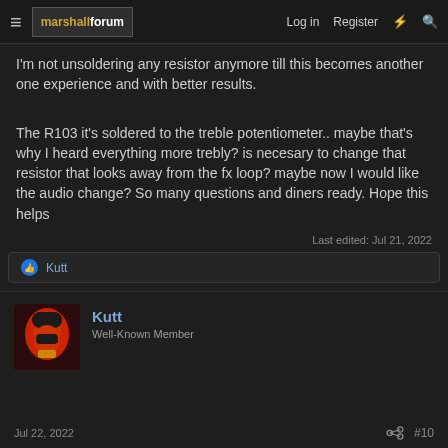marshall forum | Log in | Register
I'm not unsoldering any resistor anymore till this becomes another one experience and with better results.
The R103 it's soldered to the treble potentiometer.. maybe that's why I heard everything more trebly? is necesary to change that resistor that looks away from the fx loop? maybe now I would like the audio change? So many questions and diners ready. Hope this helps
Last edited: Jul 21, 2022
👍 Kutt
Kutt
Well-Known Member
Jul 22, 2022    #10